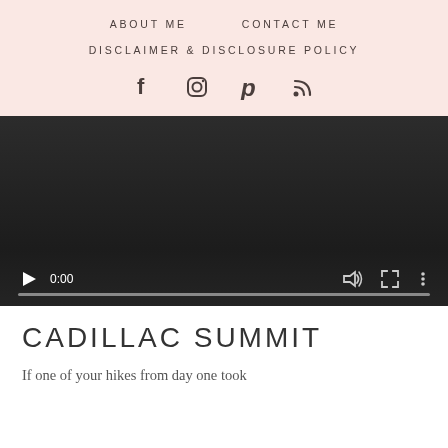ABOUT ME    CONTACT ME    DISCLAIMER & DISCLOSURE POLICY
[Figure (screenshot): Video player with dark background, showing 0:00 timestamp, play button, volume icon, fullscreen icon, and more options icon with a progress bar at the bottom.]
CADILLAC SUMMIT
If one of your hikes from day one took